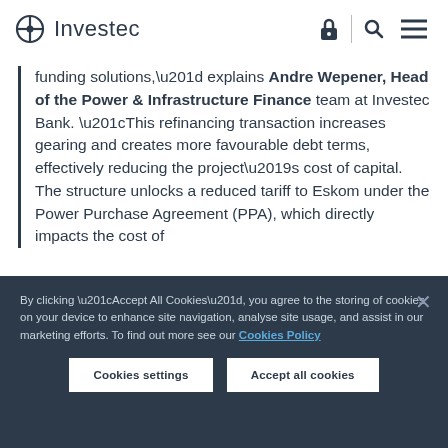Investec
funding solutions,” explains Andre Wepener, Head of the Power & Infrastructure Finance team at Investec Bank. “This refinancing transaction increases gearing and creates more favourable debt terms, effectively reducing the project’s cost of capital. The structure unlocks a reduced tariff to Eskom under the Power Purchase Agreement (PPA), which directly impacts the cost of
By clicking “Accept All Cookies”, you agree to the storing of cookies on your device to enhance site navigation, analyse site usage, and assist in our marketing efforts. To find out more see our Cookies Policy
Cookies settings
Accept all cookies